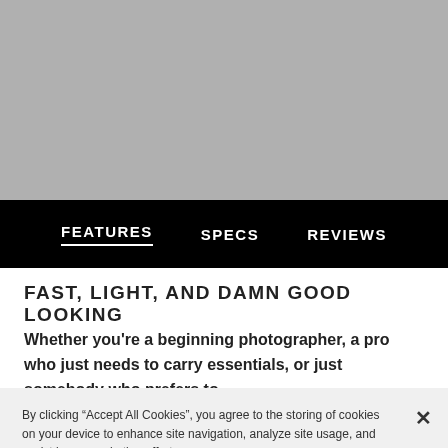[Figure (photo): Gray hero image area at top of page]
FEATURES   SPECS   REVIEWS
FAST, LIGHT, AND DAMN GOOD LOOKING
Whether you’re a beginning photographer, a pro who just needs to carry essentials, or just somebody who prefers to
By clicking “Accept All Cookies”, you agree to the storing of cookies on your device to enhance site navigation, analyze site usage, and assist in our marketing efforts.
Cookies Settings
Accept All Cookies